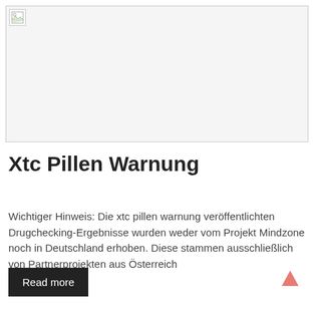[Figure (photo): Broken/missing image placeholder with small image icon in top-left corner]
Xtc Pillen Warnung
Wichtiger Hinweis: Die xtc pillen warnung veröffentlichten Drugchecking-Ergebnisse wurden weder vom Projekt Mindzone noch in Deutschland erhoben. Diese stammen ausschließlich von Partnerprojekten aus Österreich
Read more